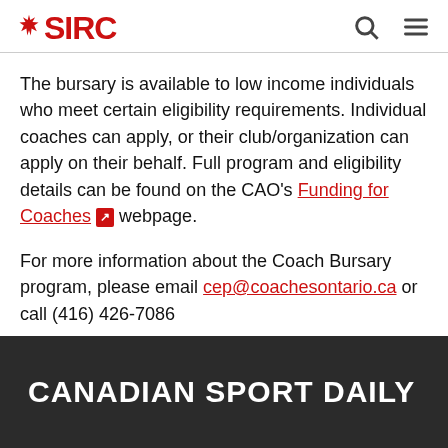SIRC
The bursary is available to low income individuals who meet certain eligibility requirements. Individual coaches can apply, or their club/organization can apply on their behalf. Full program and eligibility details can be found on the CAO's Funding for Coaches webpage.
For more information about the Coach Bursary program, please email cep@coachesontario.ca or call (416) 426-7086
CANADIAN SPORT DAILY